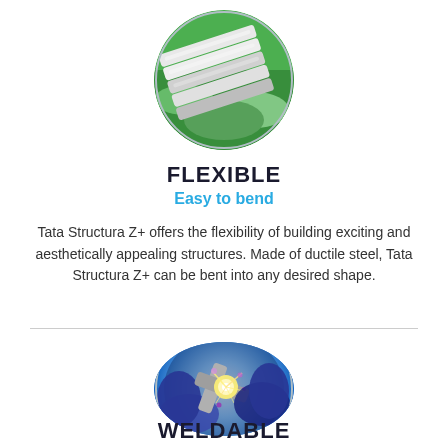[Figure (photo): Circular photo of bent steel structural tubes on green grass background]
FLEXIBLE
Easy to bend
Tata Structura Z+ offers the flexibility of building exciting and aesthetically appealing structures. Made of ductile steel, Tata Structura Z+ can be bent into any desired shape.
[Figure (photo): Circular photo of welding process with blue sparks and protective gloves]
WELDABLE